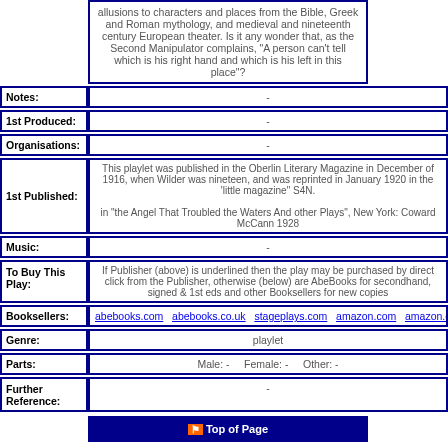allusions to characters and places from the Bible, Greek and Roman mythology, and medieval and nineteenth century European theater. Is it any wonder that, as the Second Manipulator complains, "A person can't tell which is his right hand and which is his left in this place"?
| Label | Value |
| --- | --- |
| Notes: | - |
| 1st Produced: | - |
| Organisations: | - |
| 1st Published: | This playlet was published in the Oberlin Literary Magazine in December of 1916, when Wilder was nineteen, and was reprinted in January 1920 in the 'little magazine" S4N.

in "the Angel That Troubled the Waters And other Plays", New York: Coward McCann 1928 |
| Music: | - |
| To Buy This Play: | If Publisher (above) is underlined then the play may be purchased by direct click from the Publisher, otherwise (below) are AbeBooks for secondhand, signed & 1st eds and other Booksellers for new copies |
| Booksellers: | abebooks.com  abebooks.co.uk  stageplays.com  amazon.com  amazon.co.uk  am... |
| Genre: | playlet |
| Parts: | Male: -   Female: -   Other: - |
| Further Reference: | - |